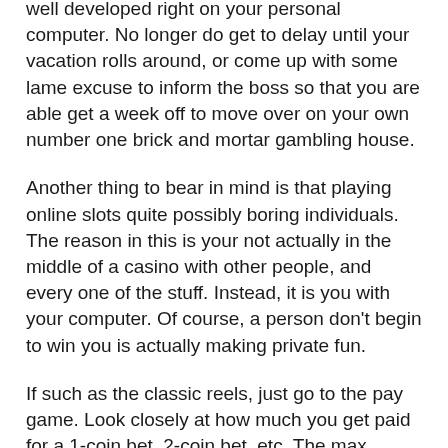well developed right on your personal computer. No longer do get to delay until your vacation rolls around, or come up with some lame excuse to inform the boss so that you are able get a week off to move over on your own number one brick and mortar gambling house.
Another thing to bear in mind is that playing online slots quite possibly boring individuals. The reason in this is your not actually in the middle of a casino with other people, and every one of the stuff. Instead, it is you with your computer. Of course, a person don't begin to win you is actually making private fun.
If such as the classic reels, just go to the pay game. Look closely at how much you get paid for a 1-coin bet, 2-coin bet, etc. The max number of coins should yield a higher payout, not an even multiplier. Let's repeat the slot accepts up to a few coins. When an specific winning combination pays 3 coins for 1 and 6 coins for 2, betting the max 3 coins should pay